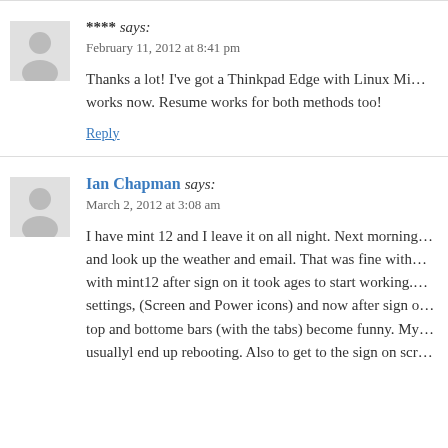**** says: February 11, 2012 at 8:41 pm
Thanks a lot! I've got a Thinkpad Edge with Linux Mi… works now. Resume works for both methods too!
Reply
Ian Chapman says: March 2, 2012 at 3:08 am
I have mint 12 and I leave it on all night. Next morning… and look up the weather and email. That was fine with… with mint12 after sign on it took ages to start working.… settings, (Screen and Power icons) and now after sign o… top and bottome bars (with the tabs) become funny. My… usuallyl end up rebooting. Also to get to the sign on scr…